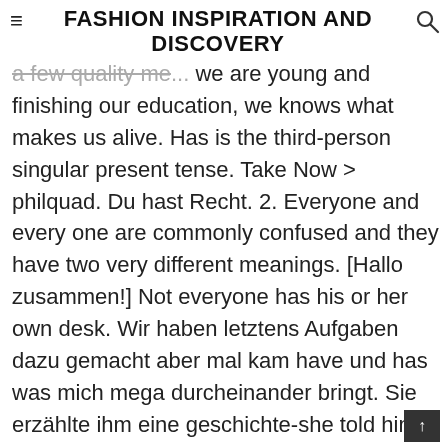≡FASHION INSPIRATION AND DISCOVERY
a few quality me... we are young and finishing our education, we knows what makes us alive. Has is the third-person singular present tense. Take Now > philquad. Du hast Recht. 2. Everyone and every one are commonly confused and they have two very different meanings. [Hallo zusammen!] Not everyone has his or her own desk. Wir haben letztens Aufgaben dazu gemacht aber mal kam have und has was mich mega durcheinander bringt. Sie erzählte ihm eine geschichte-she told him a story ODER she has told him a story???